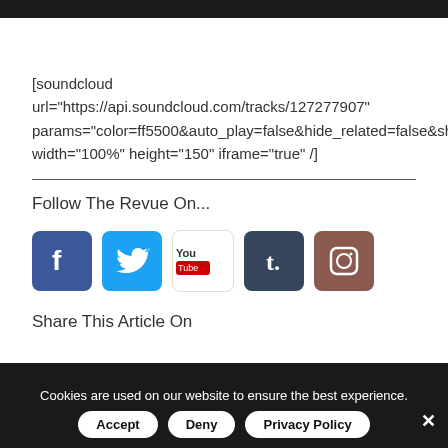[soundcloud url="https://api.soundcloud.com/tracks/127277907" params="color=ff5500&auto_play=false&hide_related=false&show... width="100%" height="150" iframe="true" /]
Follow The Revue On...
[Figure (illustration): Social media icons: Facebook, Twitter, YouTube, Tumblr, Instagram]
Share This Article On
Cookies are used on our website to ensure the best experience.
Accept  Deny  Privacy Policy